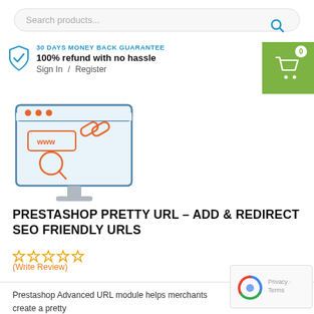Search products...
30 DAYS MONEY BACK GUARANTEE
100% refund with no hassle
Sign In / Register
[Figure (illustration): Browser window illustration showing URL bar with 'www' text, a chain link icon, and a magnifying glass — representing SEO-friendly URL management module]
PRESTASHOP PRETTY URL – ADD & REDIRECT SEO FRIENDLY URLS
(Write Review)
Prestashop Advanced URL module helps merchants create a pretty